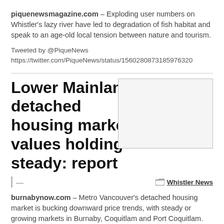piquenewsmagazine.com – Exploding user numbers on Whistler's lazy river have led to degradation of fish habitat and speak to an age-old local tension between nature and tourism.
Tweeted by @PiqueNews
https://twitter.com/PiqueNews/status/1560280873185976320
Lower Mainland detached housing market values holding steady: report
[Figure (photo): Placeholder image for article]
— Whistler News
burnabynow.com – Metro Vancouver's detached housing market is bucking downward price trends, with steady or growing markets in Burnaby, Coquitlam and Port Coquitlam.
Tweeted by @PiqueNews